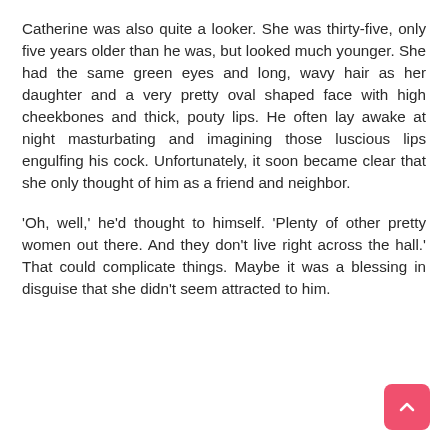Catherine was also quite a looker. She was thirty-five, only five years older than he was, but looked much younger. She had the same green eyes and long, wavy hair as her daughter and a very pretty oval shaped face with high cheekbones and thick, pouty lips. He often lay awake at night masturbating and imagining those luscious lips engulfing his cock. Unfortunately, it soon became clear that she only thought of him as a friend and neighbor.
'Oh, well,' he'd thought to himself. 'Plenty of other pretty women out there. And they don't live right across the hall.' That could complicate things. Maybe it was a blessing in disguise that she didn't seem attracted to him.